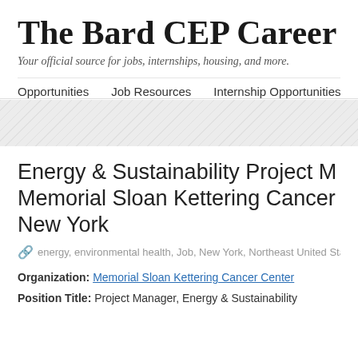The Bard CEP Career
Your official source for jobs, internships, housing, and more.
Opportunities   Job Resources   Internship Opportunities
[Figure (other): Hatched diagonal stripe decorative band]
Energy & Sustainability Project Manager Memorial Sloan Kettering Cancer Center, New York
energy, environmental health, Job, New York, Northeast United States
Organization: Memorial Sloan Kettering Cancer Center
Position Title: Project Manager, Energy & Sustainability